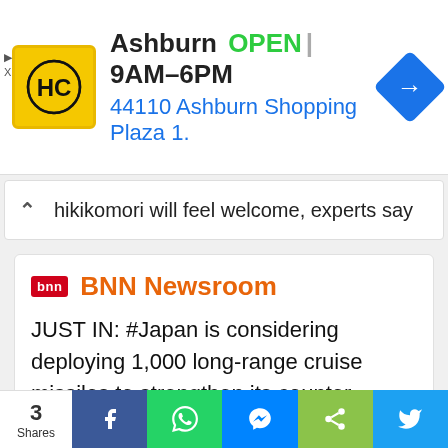[Figure (other): Advertisement banner for HC store in Ashburn. Logo: yellow square with HC letters. Text: Ashburn OPEN 9AM-6PM, 44110 Ashburn Shopping Plaza 1. Blue navigation arrow icon on right. Skip/close controls on left.]
hikikomori will feel welcome, experts say
BNN Newsroom
JUST IN: #Japan is considering deploying 1,000 long-range cruise missiles to strengthen its counter-attack capability against #China.
[Figure (photo): Photo showing overlapping flags of China (red with yellow star) and Japan (white with red circle).]
3 Shares